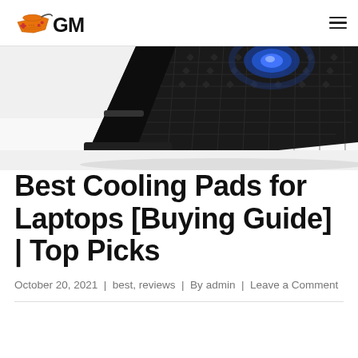GM (gaming/gear website logo with hamburger menu)
[Figure (photo): Close-up photo of a black laptop cooling pad with blue LED light and mesh surface, angled view on white background.]
Best Cooling Pads for Laptops [Buying Guide] | Top Picks
October 20, 2021 | best, reviews | By admin | Leave a Comment